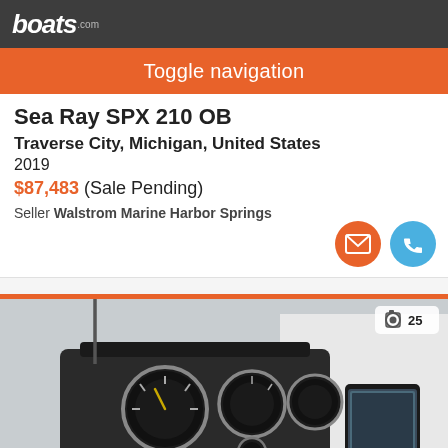boats.com
Toggle navigation
Sea Ray SPX 210 OB
Traverse City, Michigan, United States
2019
$87,483 (Sale Pending)
Seller Walstrom Marine Harbor Springs
[Figure (photo): Boat dashboard/cockpit showing gauges, steering wheel, and GPS unit mounted on dash. Photo counter showing 25 images.]
Sort By | Filter Search